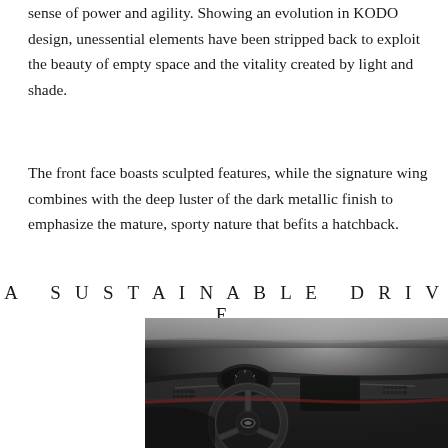sense of power and agility. Showing an evolution in KODO design, unessential elements have been stripped back to exploit the beauty of empty space and the vitality created by light and shade.
The front face boasts sculpted features, while the signature wing combines with the deep luster of the dark metallic finish to emphasize the mature, sporty nature that befits a hatchback.
A SUSTAINABLE DRIVE
[Figure (photo): Mazda car interior showing the steering wheel, dashboard, and instrument panel in dark tones with a sporty, refined aesthetic.]